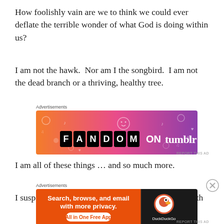How foolishly vain are we to think we could ever deflate the terrible wonder of what God is doing within us?
I am not the hawk.  Nor am I the songbird.  I am not the dead branch or a thriving, healthy tree.
[Figure (other): Tumblr advertisement banner reading 'FANDOM ON tumblr' with colorful orange-to-purple gradient background with doodles]
I am all of these things … and so much more.
I suspect a part of my soul is raptor-like, hunting with
[Figure (other): DuckDuckGo advertisement banner: 'Search, browse, and email with more privacy. All in One Free App' with DuckDuckGo logo]